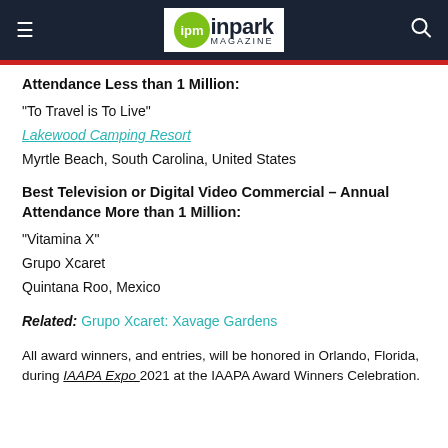ipm inpark MAGAZINE
Attendance Less than 1 Million:
“To Travel is To Live”
Lakewood Camping Resort
Myrtle Beach, South Carolina, United States
Best Television or Digital Video Commercial – Annual Attendance More than 1 Million:
"Vitamina X"
Grupo Xcaret
Quintana Roo, Mexico
Related: Grupo Xcaret: Xavage Gardens
All award winners, and entries, will be honored in Orlando, Florida, during IAAPA Expo 2021 at the IAAPA Award Winners Celebration.